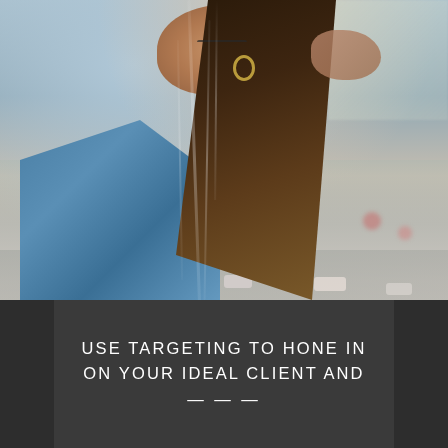[Figure (photo): A young woman with long dark hair wearing a denim jacket and gold hoop earrings, laughing and touching her hair, photographed against a blurred city street background with traffic below, shot through what appears to be a glass surface with water streaks.]
USE TARGETING TO HONE IN ON YOUR IDEAL CLIENT AND